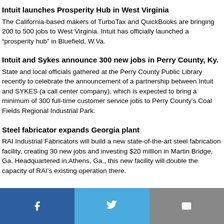Intuit launches Prosperity Hub in West Virginia
The California-based makers of TurboTax and QuickBooks are bringing 200 to 500 jobs to West Virginia. Intuit has officially launched a “prosperity hub” in Bluefield, W.Va.
Intuit and Sykes announce 300 new jobs in Perry County, Ky.
State and local officials gathered at the Perry County Public Library recently to celebrate the announcement of a partnership between Intuit and SYKES (a call center company), which is expected to bring a minimum of 300 full-time customer service jobs to Perry County’s Coal Fields Regional Industrial Park.
Steel fabricator expands Georgia plant
RAI Industrial Fabricators will build a new state-of-the-art steel fabrication facility, creating 30 new jobs and investing $20 million in Martin Bridge, Ga. Headquartered in Athens, Ga., this new facility will double the capacity of RAI’s existing operation there.
[Figure (other): Social sharing bar with Facebook, Twitter, and email buttons]